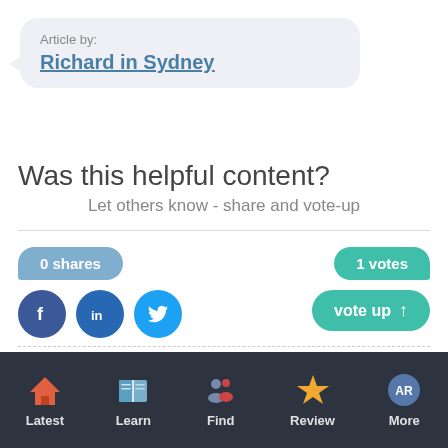Article by:
Richard in Sydney
Was this helpful content?
Let others know - share and vote-up
0 shares
1 votes
[Figure (screenshot): Social share icons: Facebook, LinkedIn, Twitter]
vote up
Latest | Learn | Find | Review | More